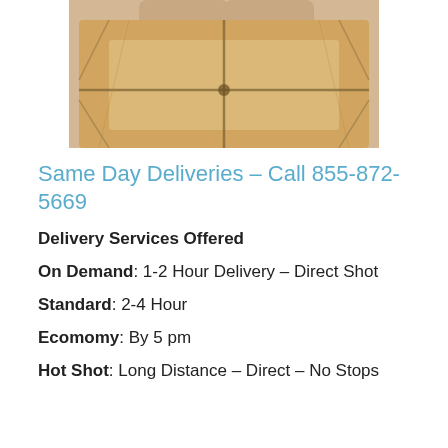[Figure (photo): A brown kraft paper wrapped package tied with twine string, with a person's hands visible at the top holding it.]
Same Day Deliveries – Call 855-872-5669
Delivery Services Offered
On Demand: 1-2 Hour Delivery – Direct Shot
Standard: 2-4 Hour
Ecomomy: By 5 pm
Hot Shot: Long Distance – Direct – No Stops